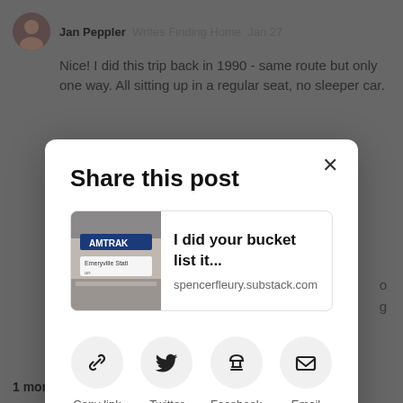Jan Peppler  Writes Finding Home  Jan 27
Nice! I did this trip back in 1990 - same route but only one way. All sitting up in a regular seat, no sleeper car.
Share this post
I did your bucket list it...
spencerfleury.substack.com
Copy link
Twitter
Facebook
Email
Reply  Collapse
1 more comments...